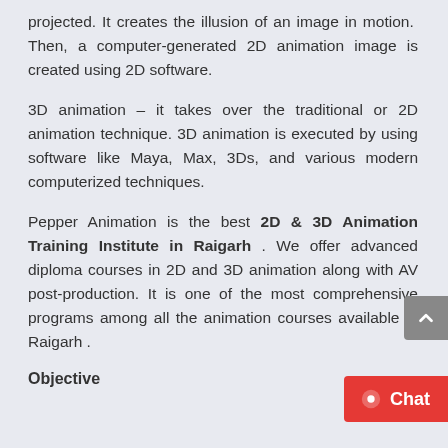projected. It creates the illusion of an image in motion. Then, a computer-generated 2D animation image is created using 2D software.
3D animation – it takes over the traditional or 2D animation technique. 3D animation is executed by using software like Maya, Max, 3Ds, and various modern computerized techniques.
Pepper Animation is the best 2D & 3D Animation Training Institute in Raigarh . We offer advanced diploma courses in 2D and 3D animation along with AV post-production. It is one of the most comprehensive programs among all the animation courses available in Raigarh .
Objective